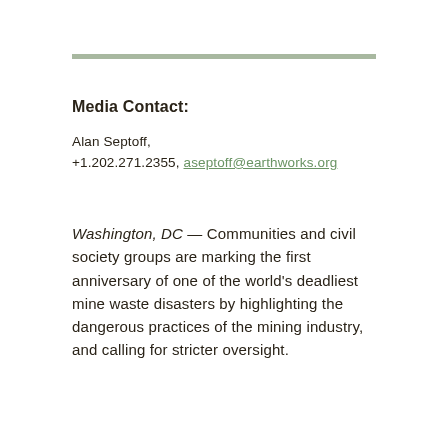Media Contact:
Alan Septoff,
+1.202.271.2355, aseptoff@earthworks.org
Washington, DC — Communities and civil society groups are marking the first anniversary of one of the world's deadliest mine waste disasters by highlighting the dangerous practices of the mining industry, and calling for stricter oversight.